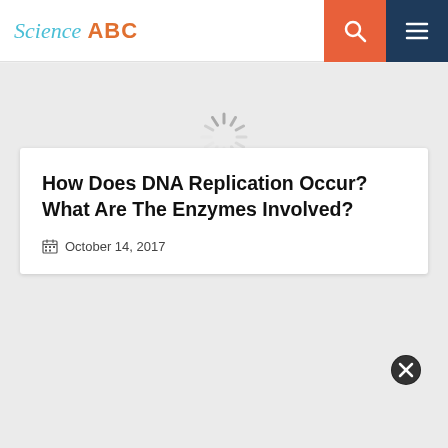Science ABC
[Figure (other): Loading spinner (animated circle indicator)]
How Does DNA Replication Occur? What Are The Enzymes Involved?
October 14, 2017
[Figure (other): Close button (X in circle)]